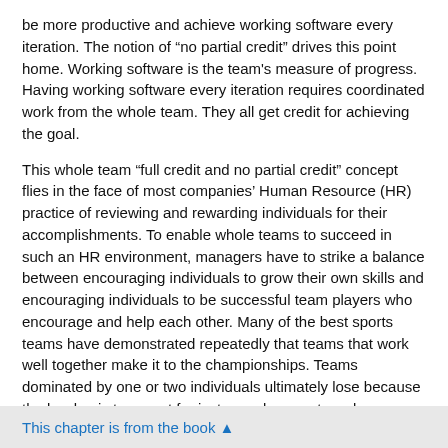be more productive and achieve working software every iteration. The notion of “no partial credit” drives this point home. Working software is the team's measure of progress. Having working software every iteration requires coordinated work from the whole team. They all get credit for achieving the goal.
This whole team “full credit and no partial credit” concept flies in the face of most companies’ Human Resource (HR) practice of reviewing and rewarding individuals for their accomplishments. To enable whole teams to succeed in such an HR environment, managers have to strike a balance between encouraging individuals to grow their own skills and encouraging individuals to be successful team players who encourage and help each other. Many of the best sports teams have demonstrated repeatedly that teams that work well together make it to the championships. Teams dominated by one or two individuals ultimately lose because the burden is too great for just one player or two players. Whole teams leverage the valuable skills of all the players.
Team members need to set their goals around personal growth.
This chapter is from the book ▲